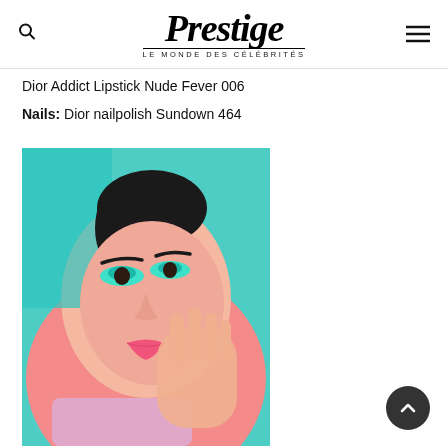Prestige — LE MONDE DES CÉLÉBRITÉS
Dior Addict Lipstick Nude Fever 006
Nails: Dior nailpolish Sundown 464
[Figure (photo): Close-up portrait of a woman wearing turquoise/mint eye makeup and pink lipstick, hand resting against her cheek, against a teal and pink background]